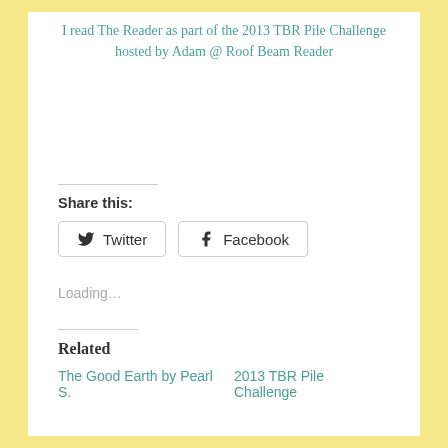I read The Reader as part of the 2013 TBR Pile Challenge hosted by Adam @ Roof Beam Reader
Share this:
Twitter  Facebook
Loading…
Related
The Good Earth by Pearl S.  2013 TBR Pile Challenge